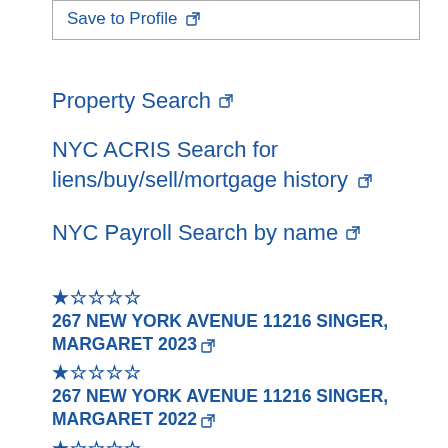Save to Profile ↗
Property Search ↗
NYC ACRIS Search for liens/buy/sell/mortgage history ↗
NYC Payroll Search by name ↗
★☆☆☆☆ 267 NEW YORK AVENUE 11216 SINGER, MARGARET 2023 ↗
★☆☆☆☆ 267 NEW YORK AVENUE 11216 SINGER, MARGARET 2022 ↗
★☆☆☆☆ 267 NEW YORK AVENUE 11216 SINGER, MARGARET 2021 ↗
★☆☆☆☆ 267 NEW YORK AVENUE 11216 SINGER, MARGARET 2020 ↗